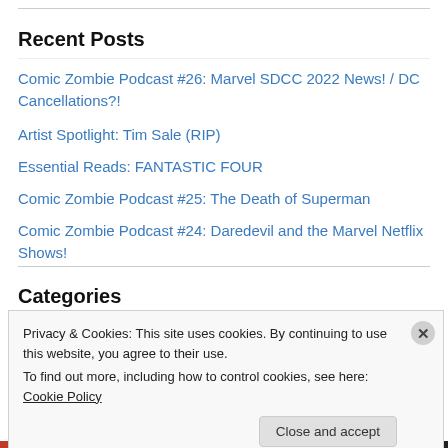Recent Posts
Comic Zombie Podcast #26: Marvel SDCC 2022 News! / DC Cancellations?!
Artist Spotlight: Tim Sale (RIP)
Essential Reads: FANTASTIC FOUR
Comic Zombie Podcast #25: The Death of Superman
Comic Zombie Podcast #24: Daredevil and the Marvel Netflix Shows!
Categories
Privacy & Cookies: This site uses cookies. By continuing to use this website, you agree to their use.
To find out more, including how to control cookies, see here: Cookie Policy
Close and accept